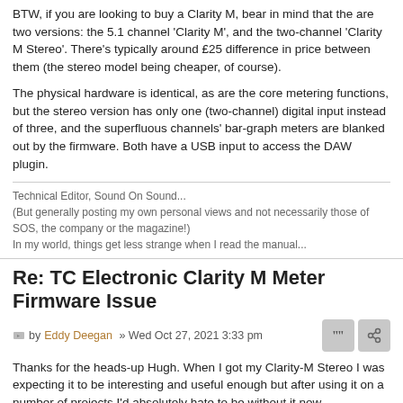BTW, if you are looking to buy a Clarity M, bear in mind that the are two versions: the 5.1 channel 'Clarity M', and the two-channel 'Clarity M Stereo'. There's typically around £25 difference in price between them (the stereo model being cheaper, of course).
The physical hardware is identical, as are the core metering functions, but the stereo version has only one (two-channel) digital input instead of three, and the superfluous channels' bar-graph meters are blanked out by the firmware. Both have a USB input to access the DAW plugin.
Technical Editor, Sound On Sound...
(But generally posting my own personal views and not necessarily those of SOS, the company or the magazine!)
In my world, things get less strange when I read the manual...
Re: TC Electronic Clarity M Meter Firmware Issue
by Eddy Deegan » Wed Oct 27, 2021 3:33 pm
Thanks for the heads-up Hugh. When I got my Clarity-M Stereo I was expecting it to be interesting and useful enough but after using it on a number of projects I'd absolutely hate to be without it now.
For me the immediacy of the display at all times is a big plus; unlike a software solution it's always there and visible independent of the